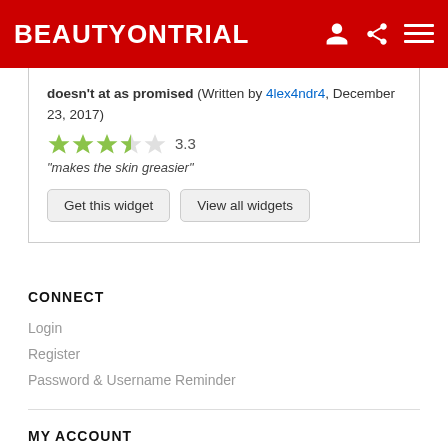BEAUTYONTRIAL
doesn't at as promised (Written by 4lex4ndr4, December 23, 2017)
[Figure (other): 3.3 star rating widget showing approximately 3.3 out of 5 stars]
"makes the skin greasier"
Get this widget | View all widgets
CONNECT
Login
Register
Password & Username Reminder
MY ACCOUNT
My Newsletters